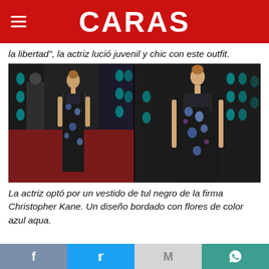CARAS
la libertad", la actriz lució juvenil y chic con este outfit.
[Figure (photo): Two side-by-side photos of a young actress wearing a black floral tulle dress by Christopher Kane at a red carpet event (BAFTA backdrop visible). Left photo shows full body, right photo shows upper body close-up. The dress features blue aqua embroidered flowers on black fabric with sheer neckline detail.]
La actriz optó por un vestido de tul negro de la firma Christopher Kane. Un diseño bordado con flores de color azul aqua.
f  t  M  WhatsApp